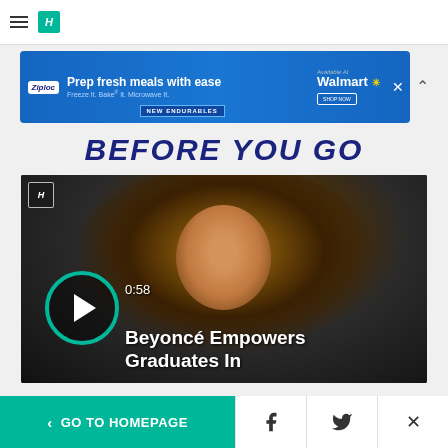HuffPost navigation bar with hamburger menu and logo
[Figure (other): Ziploc advertisement banner: 'Prep fresh meals with ease. Freeze It. Bake It. Microwave It. NEW ENDURABLES. Available at Walmart.']
BEFORE YOU GO
[Figure (other): Video thumbnail of Beyoncé with play button overlay. Duration: 0:58. Title: Beyoncé Empowers Graduates In]
< GO TO HOMEPAGE | Facebook | Twitter | X (close)